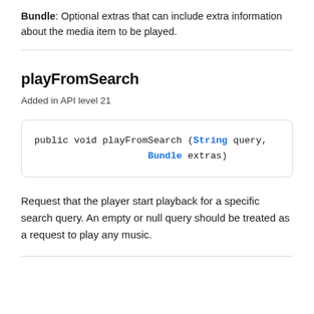Bundle: Optional extras that can include extra information about the media item to be played.
playFromSearch
Added in API level 21
public void playFromSearch (String query,
                    Bundle extras)
Request that the player start playback for a specific search query. An empty or null query should be treated as a request to play any music.